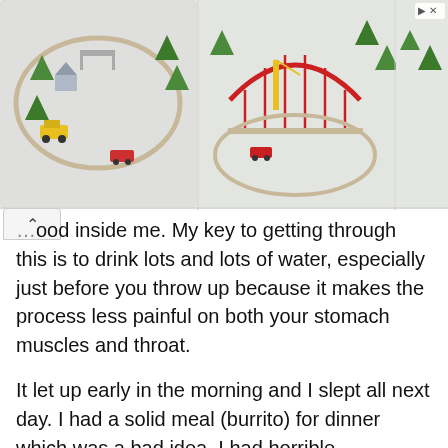[Figure (photo): Advertisement banner showing three photos of wooden toy train sets with tracks, bridges, trees, and accessories. A 'Tiny Land' logo appears in the top right corner of the ad.]
...ood inside me. My key to getting through this is to drink lots and lots of water, especially just before you throw up because it makes the process less painful on both your stomach muscles and throat.

It let up early in the morning and I slept all next day. I had a solid meal (burrito) for dinner which was a bad idea. I had horrible abdominal pain all night. Make sure you stick to thin soups and crackers for a day or two afterward, even if you feel better - your digestive system might take awhile to kickstart itself again.